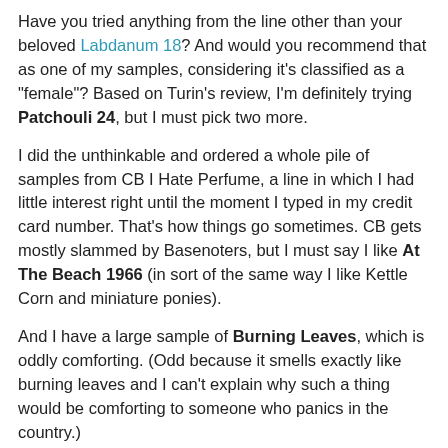Have you tried anything from the line other than your beloved Labdanum 18? And would you recommend that as one of my samples, considering it's classified as a "female"? Based on Turin's review, I'm definitely trying Patchouli 24, but I must pick two more.
I did the unthinkable and ordered a whole pile of samples from CB I Hate Perfume, a line in which I had little interest right until the moment I typed in my credit card number. That's how things go sometimes. CB gets mostly slammed by Basenoters, but I must say I like At The Beach 1966 (in sort of the same way I like Kettle Corn and miniature ponies).
And I have a large sample of Burning Leaves, which is oddly comforting. (Odd because it smells exactly like burning leaves and I can't explain why such a thing would be comforting to someone who panics in the country.)
And I've already gone through my sample of In The Library, which is more depressing than comforting. It's the smell of inertia. Which, oddly again, I like. So I bought a bunch more CBs.